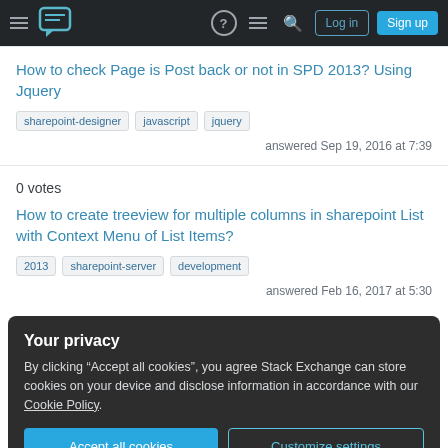Stack Exchange navigation bar with hamburger menu, logo, help, chat, search icons, Log in and Sign up buttons
How to check Page is Post back or not in SPD 2013? Using Jquery
sharepoint-designer
javascript
jquery
answered Sep 19, 2016 at 7:39
0 votes
How to create treeview for multiple columns in sharepoint List with Context Menu of List Items?
2013
sharepoint-server
development
answered Feb 16, 2017 at 5:30
Your privacy
By clicking "Accept all cookies", you agree Stack Exchange can store cookies on your device and disclose information in accordance with our Cookie Policy.
Accept all cookies
Customize settings
User-type fields in CamlQuery ViewFields return null